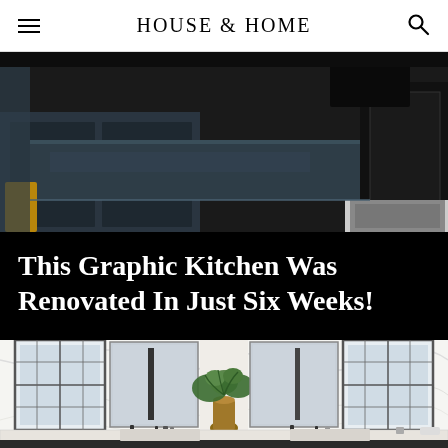HOUSE & HOME
[Figure (photo): Dark kitchen with black cabinetry and a large dark countertop island, partially shown from above]
This Graphic Kitchen Was Renovated In Just Six Weeks!
[Figure (photo): Elegant marble bathroom with double vanity, two framed mirrors, black fixtures, and a potted green plant on the countertop]